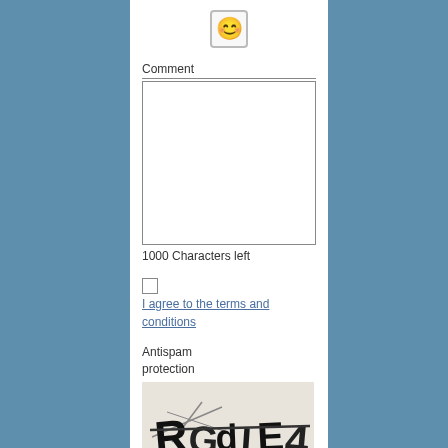[Figure (illustration): Smiley face emoji icon inside a rounded square button]
Comment
1000 Characters left
I agree to the terms and conditions
Antispam protection
[Figure (photo): CAPTCHA image showing distorted text 'RGdLE4' with strikethrough lines]
_Case sensitive